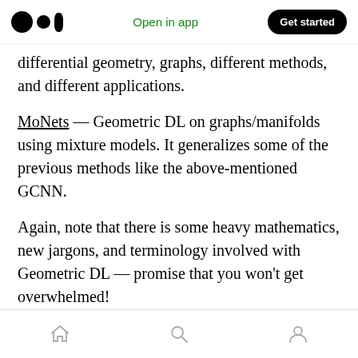Open in app | Get started
differential geometry, graphs, different methods, and different applications.
MoNets — Geometric DL on graphs/manifolds using mixture models. It generalizes some of the previous methods like the above-mentioned GCNN.
Again, note that there is some heavy mathematics, new jargons, and terminology involved with Geometric DL — promise that you won't get overwhelmed!
You don't need to understand the science about
Home | Search | Profile